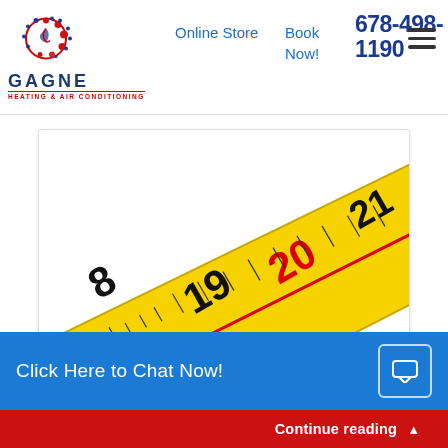Online Store | Book Now! | 678-498-1190 | GAGNE HEATING & AIR CONDITIONING
[Figure (photo): Close-up photo of a yellow measuring tape showing measurements around 18-21 inches, with a red center line, on a white background.]
When you go shopping for clothes, you don't buy pants that are so skin tight you can barely pull them up, or so huge that they fall off when you walk. Likewise, you should take [...]
Click Here to Chat Now!
Continue reading